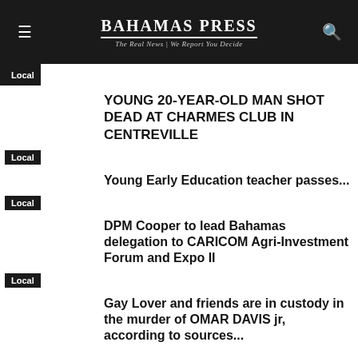BAHAMAS PRESS | The Real News | We Report You Decide
Local
YOUNG 20-YEAR-OLD MAN SHOT DEAD AT CHARMES CLUB IN CENTREVILLE
Local
Young Early Education teacher passes...
Local
DPM Cooper to lead Bahamas delegation to CARICOM Agri-Investment Forum and Expo II
Local
Gay Lover and friends are in custody in the murder of OMAR DAVIS jr, according to sources...